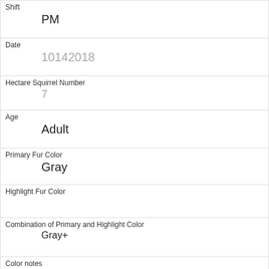| Shift | PM |
| Date | 10142018 |
| Hectare Squirrel Number | 7 |
| Age | Adult |
| Primary Fur Color | Gray |
| Highlight Fur Color |  |
| Combination of Primary and Highlight Color | Gray+ |
| Color notes |  |
| Location | Ground Plane |
| Above Ground Sighter Measurement | FALSE |